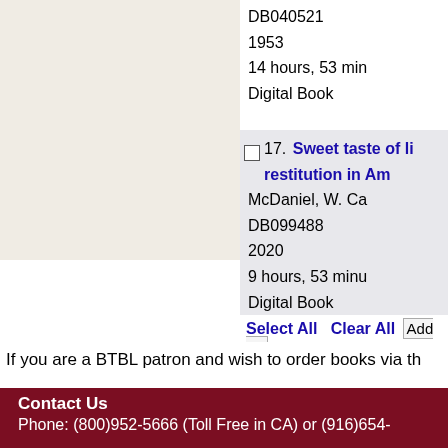DB040521
1953
14 hours, 53 min
Digital Book
17. Sweet taste of liberty: a true story of slavery and restitution in America
McDaniel, W. Ca
DB099488
2020
9 hours, 53 minu
Digital Book
Select All  Clear All  | Add Se
If you are a BTBL patron and wish to order books via th
Contact Us
Phone: (800)952-5666 (Toll Free in CA) or (916)654-